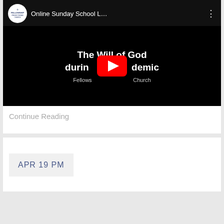[Figure (screenshot): YouTube video thumbnail showing 'Online Sunday School L...' from Fellowship Presbyterian Church. The video title visible is 'The Will of God during the Pandemic' with the YouTube play button in the center.]
Continue Reading
APR 19 PM